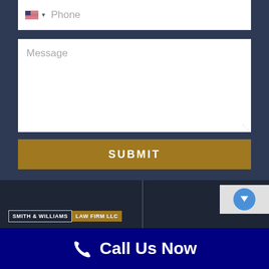[Figure (screenshot): Phone input field with US flag icon, dropdown arrow, and placeholder text 'Phone']
[Figure (screenshot): Message textarea with placeholder text 'Message' and resize handle]
SUBMIT
[Figure (logo): Smith & Williams Law Firm LLC logo with two-tone badge style]
Call Us Now